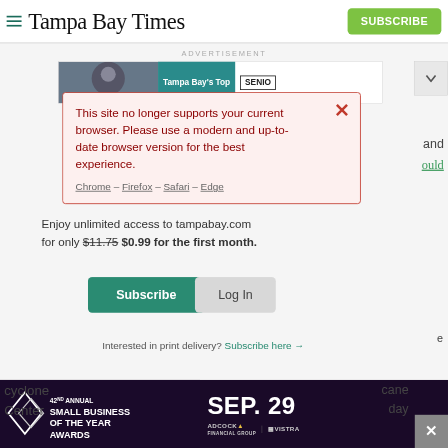Tampa Bay Times
ADVERTISEMENT
[Figure (screenshot): Tampa Bay's Top advertisement banner with cyclist and SENIO text visible]
This site no longer supports your current browser. Please use a modern and up-to-date browser version for the best experience. Chrome – Firefox – Safari – Edge
Enjoy unlimited access to tampabay.com for only $11.75 $0.99 for the first month.
Subscribe
Log In
Interested in print delivery? Subscribe here →
[Figure (screenshot): 42nd Annual Small Business of the Year Awards advertisement banner with SEP. 29 date, Adcock Financial Group and Vistra logos]
cyclone Center
cane day